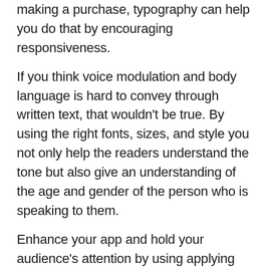making a purchase, typography can help you do that by encouraging responsiveness.
If you think voice modulation and body language is hard to convey through written text, that wouldn’t be true. By using the right fonts, sizes, and style you not only help the readers understand the tone but also give an understanding of the age and gender of the person who is speaking to them.
Enhance your app and hold your audience’s attention by using applying the typography that ensures maximum audience engagement. Describe your brand’s offering and its character through the right choice of typography.
Read this article on Errol Morris’ interesting